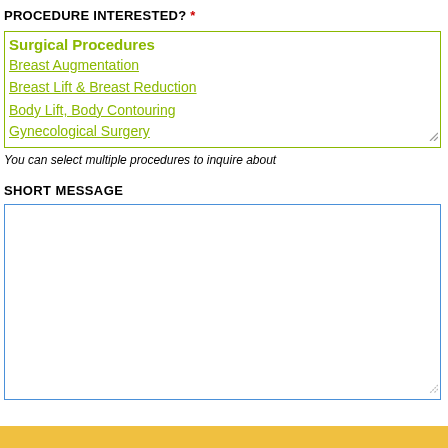PROCEDURE INTERESTED? *
Surgical Procedures
Breast Augmentation
Breast Lift & Breast Reduction
Body Lift, Body Contouring
Gynecological Surgery
You can select multiple procedures to inquire about
SHORT MESSAGE